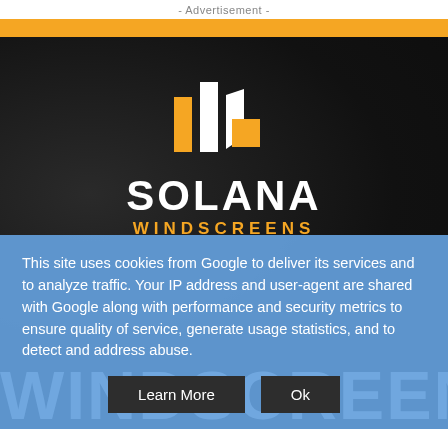- Advertisement -
[Figure (logo): Solana Windscreens advertisement with orange bar at top, dark background with the Solana Windscreens logo (icon + text), and large white WINDSCREEN text at the bottom]
This site uses cookies from Google to deliver its services and to analyze traffic. Your IP address and user-agent are shared with Google along with performance and security metrics to ensure quality of service, generate usage statistics, and to detect and address abuse.
Learn More   Ok